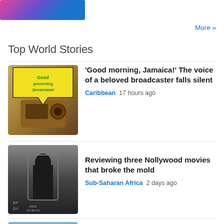[Figure (illustration): Colorful banner/header image with pink, purple, and blue gradient]
More »
Top World Stories
[Figure (photo): Person holding a vintage radio with a comic-style 'Good morning Jamaica!' speech bubble overlay]
'Good morning, Jamaica!' The voice of a beloved broadcaster falls silent
Caribbean  17 hours ago
[Figure (photo): Black and white movie poster showing a person in a regal setting, text partially visible 'King of Boys']
Reviewing three Nollywood movies that broke the mold
Sub-Saharan Africa  2 days ago
[Figure (photo): City skyline silhouette against a blue sky, partially visible at bottom of page]
China's COVID tests carry on despite